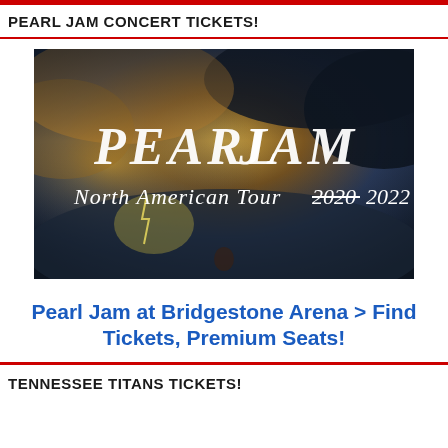PEARL JAM CONCERT TICKETS!
[Figure (photo): Pearl Jam North American Tour 2020 2022 concert promotional image with dark stormy sky background and white script lettering. '2020' is struck through.]
Pearl Jam at Bridgestone Arena > Find Tickets, Premium Seats!
TENNESSEE TITANS TICKETS!